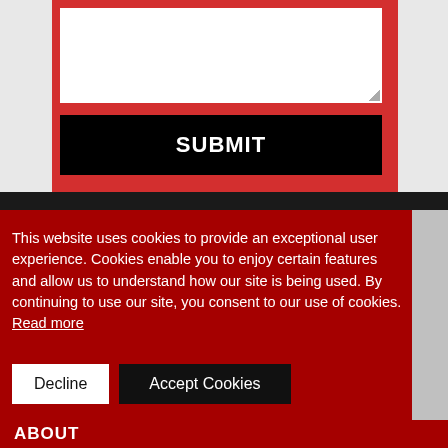[Figure (screenshot): A web form textarea on a red background with a black SUBMIT button below it]
This website uses cookies to provide an exceptional user experience. Cookies enable you to enjoy certain features and allow us to understand how our site is being used. By continuing to use our site, you consent to our use of cookies. Read more
Decline
Accept Cookies
ABOUT